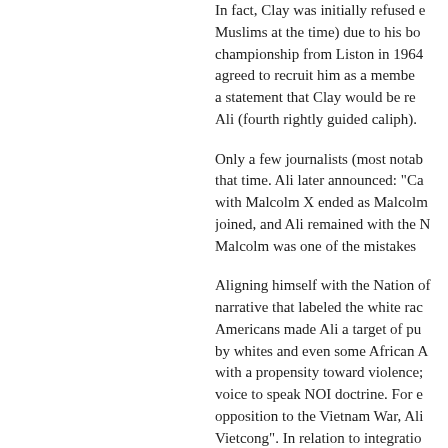In fact, Clay was initially refused e[ntry by the] Muslims at the time) due to his bo[xing the] championship from Liston in 1964[, the NOI] agreed to recruit him as a membe[r and made] a statement that Clay would be re[named] Ali (fourth rightly guided caliph).
Only a few journalists (most notab[ly...) knew] that time. Ali later announced: "Ca[ss Clay's] with Malcolm X ended as Malcolm[ X had] joined, and Ali remained with the N[OI]... Malcolm was one of the mistakes...
Aligning himself with the Nation of [Islam's] narrative that labeled the white rac[e as evil...] Americans made Ali a target of pu[blic scorn] by whites and even some African A[mericans] with a propensity toward violence[...] voice to speak NOI doctrine. For e[xample, his] opposition to the Vietnam War, Ali [said "no] Vietcong". In relation to integratio[n:] Muhammad don't want to be force[d and doesn't] want to live with the white man; th[ey say:] "No intelligent black man or black [...] boys and white girls coming to the [bed of their] daughters." Indeed, Ali's religious [...] white man was "the devil" and tha[t...]
Writer Jerry Izenberg once noted t[hat Elijah] Muhammad became his father. Bu[t since the] Nation branded white people as d[evils,...] African American people did at tha[t time,]